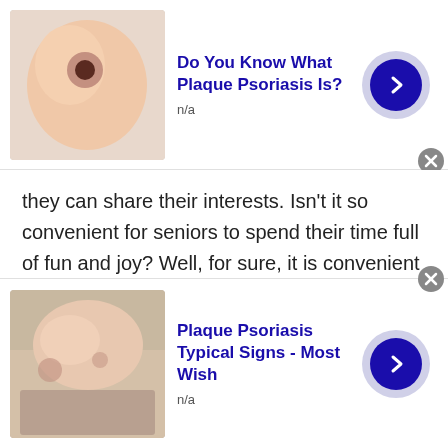[Figure (infographic): Top advertisement banner: skin condition photo on left, bold blue title 'Do You Know What Plaque Psoriasis Is?', 'n/a' subtitle, blue circle arrow button on right, close X button]
they can share their interests. Isn't it so convenient for seniors to spend their time full of fun and joy? Well, for sure, it is convenient as when no one is available to talk to you in person, virtual hang out will surely work out.
Free gay chat rooms
TWS free guy chat room is the most convenient place for all gay users. We already said earlier, th TWS...
[Figure (infographic): Bottom advertisement banner: skin condition photo on left, bold blue title 'Plaque Psoriasis Typical Signs - Most Wish', 'n/a' subtitle, blue circle arrow button on right, close X button]